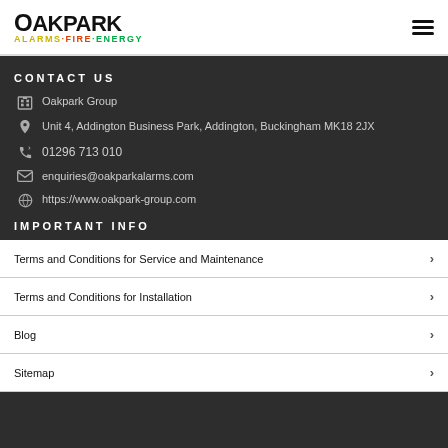Oakpark Alarms Fire Energy
CONTACT US
Oakpark Group
Unit 4, Addington Business Park, Addington, Buckingham MK18 2JX
01296 713 010
enquiries@oakparkalarms.com
https://www.oakpark-group.com
IMPORTANT INFO
Terms and Conditions for Service and Maintenance
Terms and Conditions for Installation
Blog
Sitemap